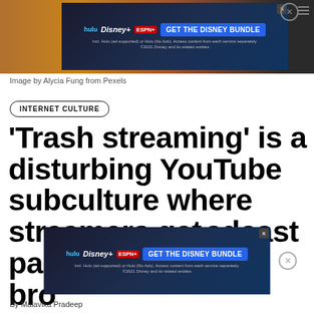[Figure (screenshot): Advertisement banner for Disney Bundle (Hulu, Disney+, ESPN+) at top of page with 'GET THE DISNEY BUNDLE' button on blue background, overlaid on a photo of a person]
Image by Alycia Fung from Pexels
INTERNET CULTURE
‘Trash streaming’ is a disturbing YouTube subculture where streamers get paid to broadcast abuse
[Figure (screenshot): Second advertisement banner for Disney Bundle (Hulu, Disney+, ESPN+) at bottom of page]
By Malavika Pradeep